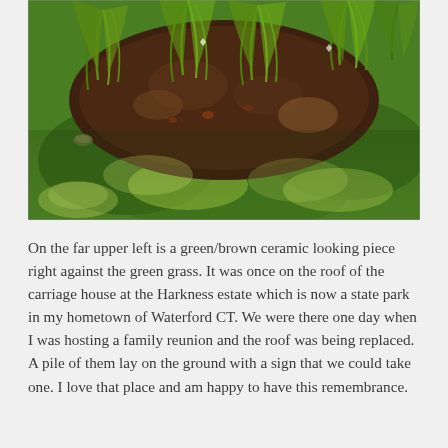[Figure (photo): Outdoor garden photo showing a raised dirt/soil planting bed with several tall green grass-like plants (possibly daylilies or ornamental grasses) growing from dark soil. Green lawn grass surrounds the bed. The photo is taken from above at an angle. Dappled sunlight/shadows are visible on the grass.]
On the far upper left is a green/brown ceramic looking piece right against the green grass. It was once on the roof of the carriage house at the Harkness estate which is now a state park in my hometown of Waterford CT. We were there one day when I was hosting a family reunion and the roof was being replaced. A pile of them lay on the ground with a sign that we could take one. I love that place and am happy to have this remembrance.